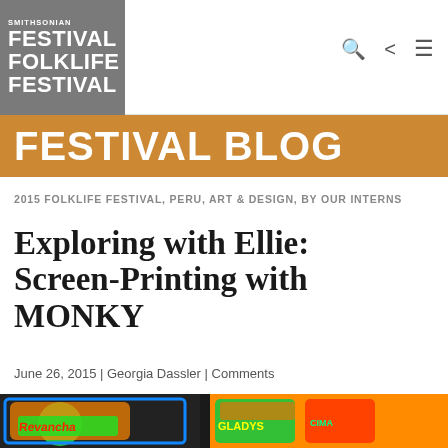SMITHSONIAN FOLKLIFE FESTIVAL
FESTIVAL BLOG
2015 FOLKLIFE FESTIVAL, PERU, ART & DESIGN, BY OUR INTERNS
Exploring with Ellie: Screen-Printing with MONKY
June 26, 2015 | Georgia Dassler | Comments
[Figure (photo): Colorful screen-printed posters with bright neon colors including text reading 'Revancha' and 'Gladys', displayed at the Folklife Festival]